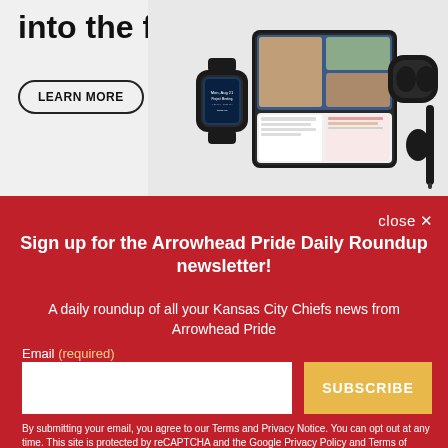[Figure (illustration): Samsung advertisement showing text 'into the fold' with a LEARN MORE button and Samsung devices including a foldable phone, smartwatch, earbuds, and stylus]
close ✕
Sign up for the Arrowhead Pride Daily Roundup newsletter!
A daily roundup of all your Kansas City Chiefs news from Arrowhead Pride
Email (required)
SUBSCRIBE
By submitting your email, you agree to our Terms and Privacy Notice. You can opt out at any time. This site is protected by reCAPTCHA and the Google Privacy Policy and Terms of Service apply.